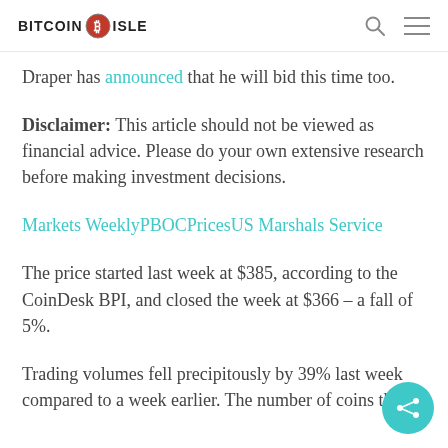BITCOIN ISLE
Draper has announced that he will bid this time too.
Disclaimer: This article should not be viewed as financial advice. Please do your own extensive research before making investment decisions.
Markets WeeklyPBOCPricesUS Marshals Service
The price started last week at $385, according to the CoinDesk BPI, and closed the week at $366 – a fall of 5%.
Trading volumes fell precipitously by 39% last week compared to a week earlier. The number of coins that